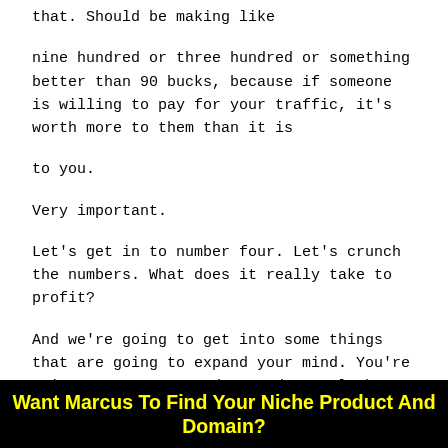that. Should be making like
nine hundred or three hundred or something better than 90 bucks, because if someone is willing to pay for your traffic, it’s worth more to them than it is
to you.
Very important.
Let’s get in to number four. Let’s crunch the numbers. What does it really take to profit?
And we’re going to get into some things that are going to expand your mind. You’re going to start to understand exactly how this works.
Now, what does it take
Want Marcus To Find Your Niche Product And Domain?